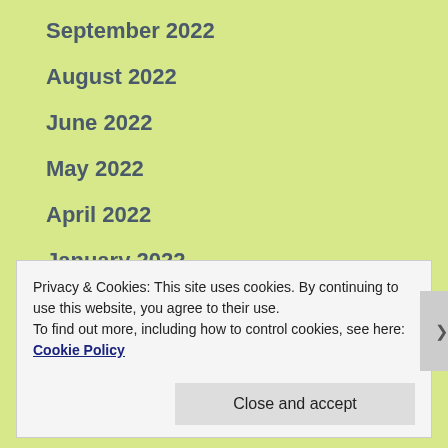September 2022
August 2022
June 2022
May 2022
April 2022
January 2022
December 2021
November 2021
Privacy & Cookies: This site uses cookies. By continuing to use this website, you agree to their use. To find out more, including how to control cookies, see here: Cookie Policy
Close and accept